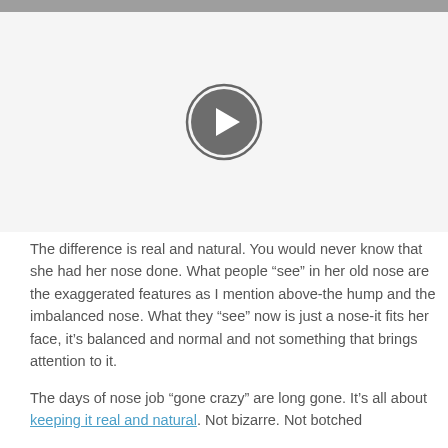[Figure (other): Gray header bar at top of page]
[Figure (other): Video player placeholder with circular play button on light gray background]
The difference is real and natural. You would never know that she had her nose done. What people “see” in her old nose are the exaggerated features as I mention above-the hump and the imbalanced nose. What they “see” now is just a nose-it fits her face, it’s balanced and normal and not something that brings attention to it.
The days of nose job “gone crazy” are long gone. It’s all about keeping it real and natural. Not bizarre. Not botched